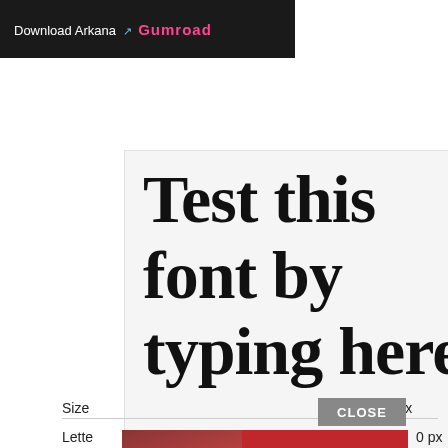[Figure (screenshot): Dark banner with 'Download Arkana' text in white with a link arrow icon, followed by 'Gumroad' in pink/magenta bold lettering on dark background]
[Figure (screenshot): Font preview box on light gray background showing the text 'Test this font by typing here' rendered in a decorative Gothic/medieval style font (Arkana) at 70px size]
Size
70 px
Lette
0 px
[Figure (screenshot): Advertisement overlay: 'KISS BORING LIPS GOODBYE' in white bold text on red background with a photo of woman with red lips, SHOP NOW button, and Macy's star logo]